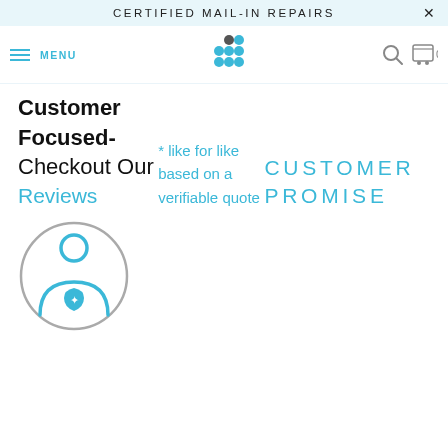CERTIFIED MAIL-IN REPAIRS
[Figure (logo): Navigation bar with menu icon, blue dot logo, search icon, and cart icon showing 0]
Customer Focused- Checkout Our Reviews
* like for like based on a verifiable quote
CUSTOMER PROMISE
[Figure (illustration): Circle icon with a person/customer figure holding a shield with a checkmark inside]